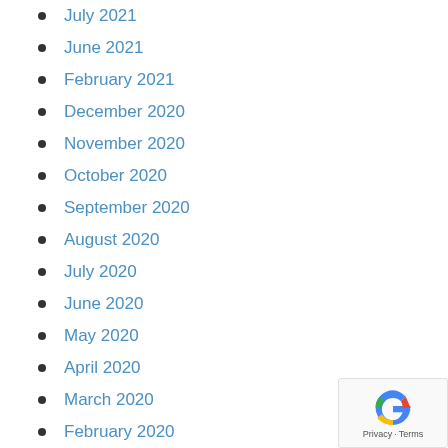July 2021
June 2021
February 2021
December 2020
November 2020
October 2020
September 2020
August 2020
July 2020
June 2020
May 2020
April 2020
March 2020
February 2020
[Figure (logo): reCAPTCHA badge with Privacy and Terms links]